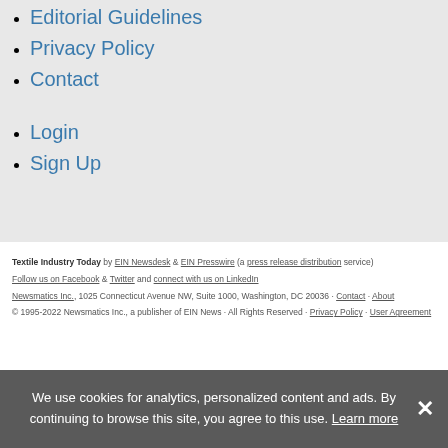Editorial Guidelines
Privacy Policy
Contact
Login
Sign Up
Textile Industry Today by EIN Newsdesk & EIN Presswire (a press release distribution service)
Follow us on Facebook & Twitter and connect with us on LinkedIn
Newsmatics Inc., 1025 Connecticut Avenue NW, Suite 1000, Washington, DC 20036 · Contact · About
© 1995-2022 Newsmatics Inc., a publisher of EIN News · All Rights Reserved · Privacy Policy · User Agreement
We use cookies for analytics, personalized content and ads. By continuing to browse this site, you agree to this use. Learn more